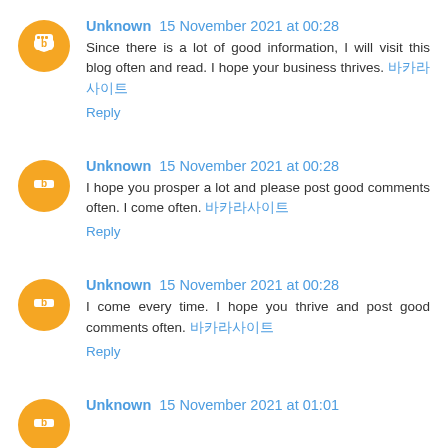Unknown 15 November 2021 at 00:28 — Since there is a lot of good information, I will visit this blog often and read. I hope your business thrives. 바카라사이트 — Reply
Unknown 15 November 2021 at 00:28 — I hope you prosper a lot and please post good comments often. I come often. 바카라사이트 — Reply
Unknown 15 November 2021 at 00:28 — I come every time. I hope you thrive and post good comments often. 바카라사이트 — Reply
Unknown 15 November 2021 at 01:01